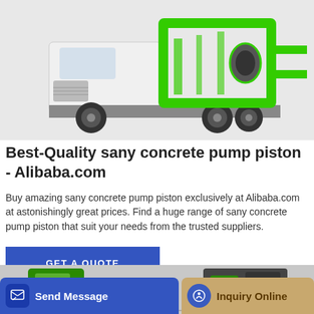[Figure (photo): A white truck with a green hydraulic concrete pump attachment mounted on the back, shown on a light gray background.]
Best-Quality sany concrete pump piston - Alibaba.com
Buy amazing sany concrete pump piston exclusively at Alibaba.com at astonishingly great prices. Find a huge range of sany concrete pump piston that suit your needs from the trusted suppliers.
GET A QUOTE
[Figure (photo): Two construction machines (concrete-related equipment with green paint) partially visible against a gray background, with bottom navigation bar overlaid.]
Send Message
Inquiry Online